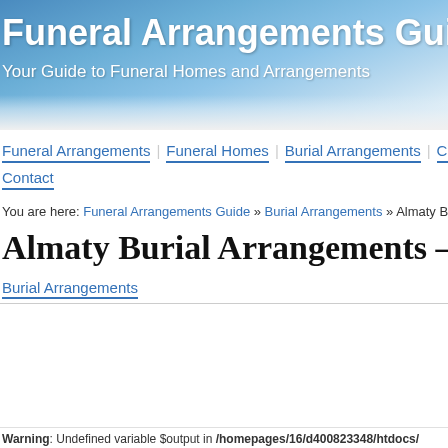Funeral Arrangements Guide
Your Guide to Funeral Homes and Arrangements
Funeral Arrangements | Funeral Homes | Burial Arrangements | Caskets | Urns | Contact
You are here: Funeral Arrangements Guide » Burial Arrangements » Almaty Burial Arrangements – Al...
Almaty Burial Arrangements – Almaty Burial A...
Burial Arrangements
Warning: Undefined variable $output in /homepages/16/d400823348/htdocs/...